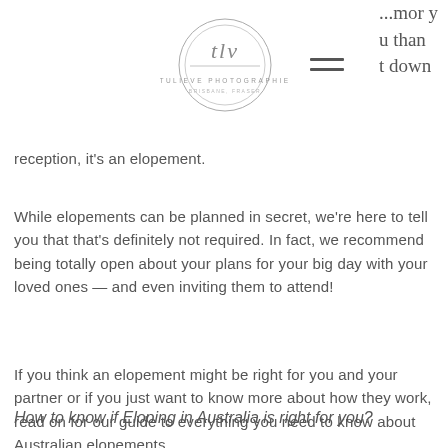[Figure (logo): TLV Tulieve Photographie circular logo with cursive script]
[Figure (other): Hamburger menu icon with two horizontal lines]
...mor y
u than
t down
reception, it's an elopement.
While elopements can be planned in secret, we're here to tell you that that's definitely not required. In fact, we recommend being totally open about your plans for your big day with your loved ones — and even inviting them to attend!
If you think an elopement might be right for you and your partner or if you just want to know more about how they work, read on for our guide to everything you need to know about Australian elopements.
How to know if Eloping in Australia is right for you?